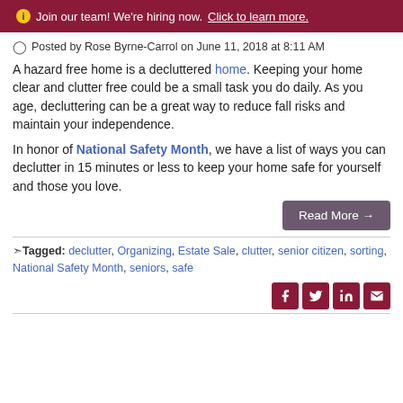Join our team! We're hiring now. Click to learn more.
Posted by Rose Byrne-Carrol on June 11, 2018 at 8:11 AM
A hazard free home is a decluttered home. Keeping your home clear and clutter free could be a small task you do daily. As you age, decluttering can be a great way to reduce fall risks and maintain your independence.
In honor of National Safety Month, we have a list of ways you can declutter in 15 minutes or less to keep your home safe for yourself and those you love.
Read More →
Tagged: declutter, Organizing, Estate Sale, clutter, senior citizen, sorting, National Safety Month, seniors, safe